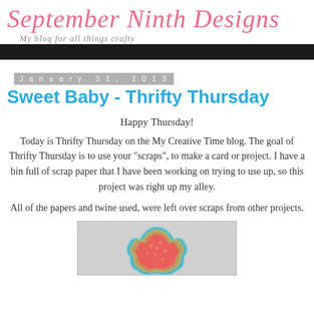September Ninth Designs — My blog for all things crafty
Sweet Baby - Thrifty Thursday
January 31, 2013
Happy Thursday!
Today is Thrifty Thursday on the My Creative Time blog. The goal of Thrifty Thursday is to use your "scraps", to make a card or project. I have a bin full of scrap paper that I have been working on trying to use up, so this project was right up my alley.
All of the papers and twine used, were left over scraps from other projects.
[Figure (photo): Craft project photo showing a decorative layered paper shape (cloud-like/flower-shaped) in pink/coral and teal/blue colors on a light gray background]